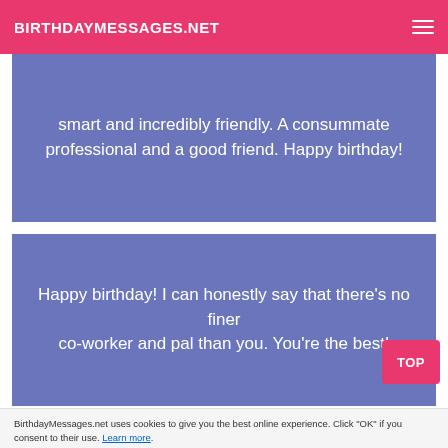BIRTHDAYMESSAGES.NET
smart and incredibly friendly. A consummate professional and a good friend. Happy birthday!
Happy birthday! I can honestly say that there's no finer co-worker and pal than you. You're the best!
TOP
BirthdayMessages.net uses cookies to give you the best online experience. Click "OK" if you consent to their use. Learn more.
OK